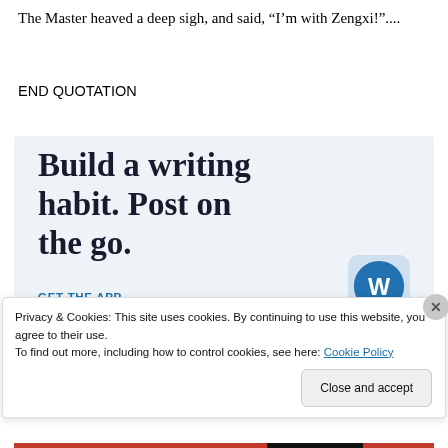The Master heaved a deep sigh, and said, “I’m with Zengxi!”....
END QUOTATION
[Figure (other): WordPress app advertisement banner with text 'Build a writing habit. Post on the go.' and a 'GET THE APP' call to action with WordPress logo]
Privacy & Cookies: This site uses cookies. By continuing to use this website, you agree to their use.
To find out more, including how to control cookies, see here: Cookie Policy